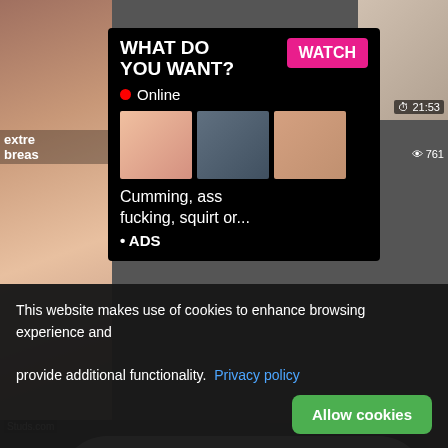[Figure (screenshot): Adult video website screenshot showing multiple video thumbnails in a dark grid layout]
WHAT DO YOU WANT?
Online
Cumming, ass fucking, squirt or...
• ADS
ADS
Angel is typing ... 💬
(1) unread message
LIVE
Studs.com
Trinity Po...
her lips lush this
89% 648
nephew The
71% 557
21:53
8:00
761
extre
breas
This website makes use of cookies to enhance browsing experience and provide additional functionality.  Privacy policy
Allow cookies